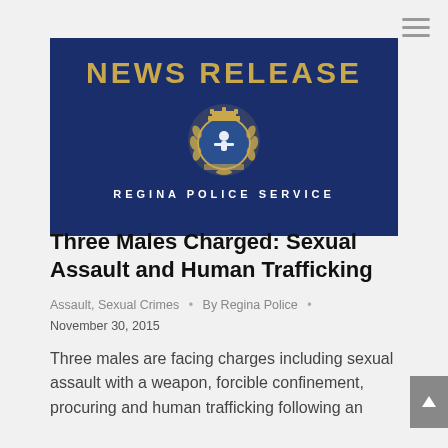[Figure (logo): Regina Police Service News Release banner with gold text 'NEWS RELEASE', police badge crest, and 'REGINA POLICE SERVICE' text on dark navy blue background]
Three Males Charged: Sexual Assault and Human Trafficking
Assault, Sexual Crimes • By Regina Police • November 30, 2015
Three males are facing charges including sexual assault with a weapon, forcible confinement, procuring and human trafficking following an